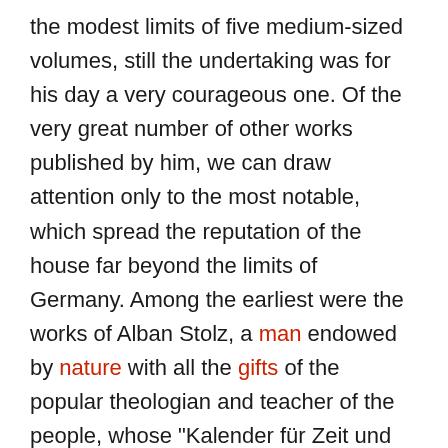the modest limits of five medium-sized volumes, still the undertaking was for his day a very courageous one. Of the very great number of other works published by him, we can draw attention only to the most notable, which spread the reputation of the house far beyond the limits of Germany. Among the earliest were the works of Alban Stolz, a man endowed by nature with all the gifts of the popular theologian and teacher of the people, whose "Kalender für Zeit und Ewigkeit", assailing in powerful and eloquent language the fundamental evils of the world and the age, achieved an extraordinary success in strengthening and deepening the faith of the people. Alongside of Stolz